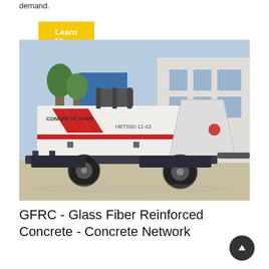demand.
Learn More
[Figure (photo): A white concrete pump machine labeled 'CONCRETE PUMP HBTS50-12-62' with red chevron stripes on the side, mounted on a wheeled trailer frame with a large hopper on the right side, photographed outdoors near a building.]
GFRC - Glass Fiber Reinforced Concrete - Concrete Network